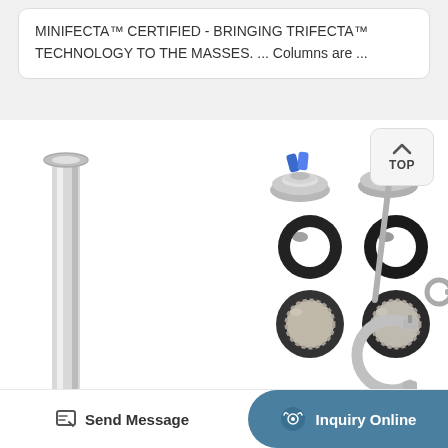MINIFECTA™ CERTIFIED - BRINGING TRIFECTA™ TECHNOLOGY TO THE MASSES. ... Columns are ...
[Figure (photo): Product kit photo showing various stainless steel components: a long cylindrical column tube on the left, two tri-clamp fittings with blue handles at top center, two black O-rings in the middle, two filter/gasket discs below, a bent metal rod/bracket, two tri-clamp clamps at bottom right, and a small key. A 'TOP' button overlay is visible at top right.]
Send Message
Inquiry Online